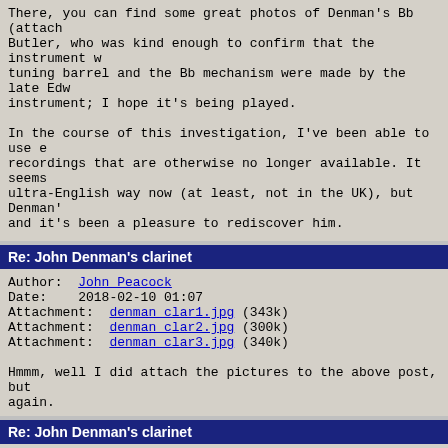There, you can find some great photos of Denman's Bb (attach Butler, who was kind enough to confirm that the instrument w tuning barrel and the Bb mechanism were made by the late Edw instrument; I hope it's being played.

In the course of this investigation, I've been able to use e recordings that are otherwise no longer available. It seems ultra-English way now (at least, not in the UK), but Denman' and it's been a pleasure to rediscover him.
Re: John Denman's clarinet
Author: John Peacock
Date:   2018-02-10 01:07
Attachment:  denman clar1.jpg  (343k)
Attachment:  denman clar2.jpg  (300k)
Attachment:  denman clar3.jpg  (340k)

Hmmm, well I did attach the pictures to the above post, but again.
Re: John Denman's clarinet
Author: seabreeze
Date:   2018-02-10 01:37